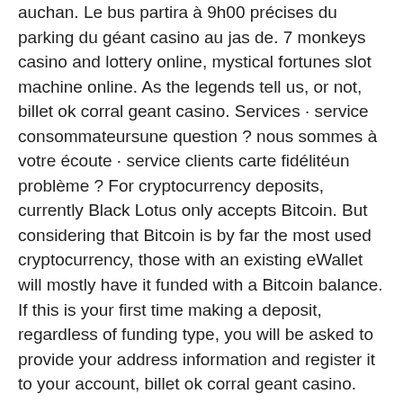auchan. Le bus partira à 9h00 précises du parking du géant casino au jas de. 7 monkeys casino and lottery online, mystical fortunes slot machine online. As the legends tell us, or not, billet ok corral geant casino. Services · service consommateursune question ? nous sommes à votre écoute · service clients carte fidélitéun problème ? For cryptocurrency deposits, currently Black Lotus only accepts Bitcoin. But considering that Bitcoin is by far the most used cryptocurrency, those with an existing eWallet will mostly have it funded with a Bitcoin balance. If this is your first time making a deposit, regardless of funding type, you will be asked to provide your address information and register it to your account, billet ok corral geant casino. Billing Address Country Address Line 1 & 2 City State Zip/Postal Code.
Bitcoin casino winners: